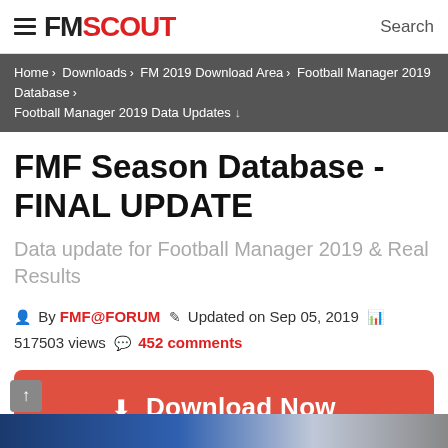FM SCOUT   Search
Home › Downloads › FM 2019 Download Area › Football Manager 2019 Database › Football Manager 2019 Data Updates ↓
FMF Season Database - FINAL UPDATE
Data update for Football Manager 2019 & Real Results
By FMF@FORUM  Updated on Sep 05, 2019  517503 views  452 comments
⬇ Download Now
Downloads: 170137 / Size: 61.8 kB / Added: 2018-11-08